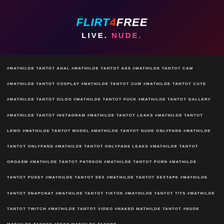[Figure (photo): Advertisement banner for Flirt4Free with image of woman and text LIVE. NUDE.]
#MATHILDE TANTOT ANAL #MATHILDE TANTOT ASS #MATHILDE TANTOT CAM #MATHILDE TANTOT COSPLAY #MATHILDE TANTOT CUM #MATHILDE TANTOT CUTE #MATHILDE TANTOT DILDO #MATHILDE TANTOT FUCK #MATHILDE TANTOT GALLERY #MATHILDE TANTOT INSTAGRAM #MATHILDE TANTOT LEAKS #MATHILDE TANTOT LEWD #MATHILDE TANTOT MODEL #MATHILDE TANTOT NUDE ONLYFANS #MATHILDE TANTOT ONLYFANS #MATHILDE TANTOT ONLYFANS LEAKS #MATHILDE TANTOT ORGASM #MATHILDE TANTOT PATREON #MATHILDE TANTOT PORN #MATHILDE TANTOT PUSSY #MATHILDE TANTOT SEX #MATHILDE TANTOT SEXTAPE #MATHILDE TANTOT SNAPCHAT #MATHILDE TANTOT TIKTOK #MATHILDE TANTOT TITS #MATHILDE TANTOT TWITCH #MATHILDE TANTOT VIDEO #NAKED MATHILDE TANTOT #NUDE MATHILDE TANTOT #SEXY MATHILDE TANTOT
Previous article
Leaks Sophie Mudd Join the Free onlyfans Discord Server! Patreon Nude Leaks
Next article